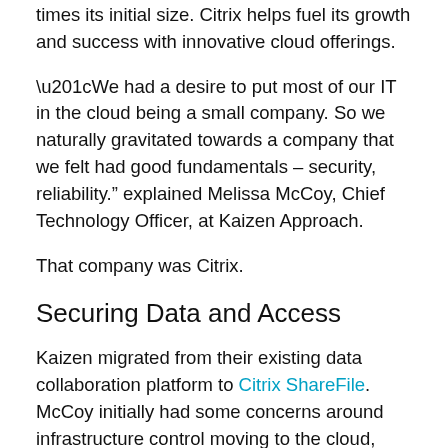times its initial size. Citrix helps fuel its growth and success with innovative cloud offerings.
“We had a desire to put most of our IT in the cloud being a small company. So we naturally gravitated towards a company that we felt had good fundamentals – security, reliability.” explained Melissa McCoy, Chief Technology Officer, at Kaizen Approach.
That company was Citrix.
Securing Data and Access
Kaizen migrated from their existing data collaboration platform to Citrix ShareFile. McCoy initially had some concerns around infrastructure control moving to the cloud, though ShareFile quickly showed its value allowing them to do